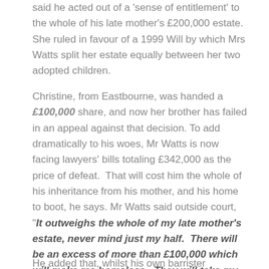said he acted out of a 'sense of entitlement' to the whole of his late mother's £200,000 estate. She ruled in favour of a 1999 Will by which Mrs Watts split her estate equally between her two adopted children.
Christine, from Eastbourne, was handed a £100,000 share, and now her brother has failed in an appeal against that decision. To add dramatically to his woes, Mr Watts is now facing lawyers' bills totaling £342,000 as the price of defeat.  That will cost him the whole of his inheritance from his mother, and his home to boot, he says. Mr Watts said outside court, "It outweighs the whole of my late mother's estate, never mind just my half.  There will be an excess of more than £100,000 which will make me homeless.  They will take my house and make me homeless".
He added that, whilst his own barrister represented him